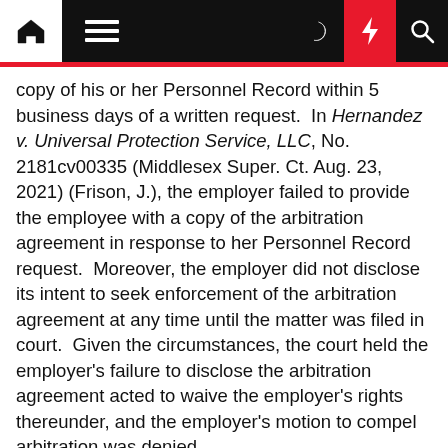[Navigation bar with home, menu, dark mode, flash, and search icons]
copy of his or her Personnel Record within 5 business days of a written request. In Hernandez v. Universal Protection Service, LLC, No. 2181cv00335 (Middlesex Super. Ct. Aug. 23, 2021) (Frison, J.), the employer failed to provide the employee with a copy of the arbitration agreement in response to her Personnel Record request. Moreover, the employer did not disclose its intent to seek enforcement of the arbitration agreement at any time until the matter was filed in court. Given the circumstances, the court held the employer's failure to disclose the arbitration agreement acted to waive the employer's rights thereunder, and the employer's motion to compel arbitration was denied.
And Speaking of the Personnel Records Law…
Massachusetts's highest court, the Supreme Judicial